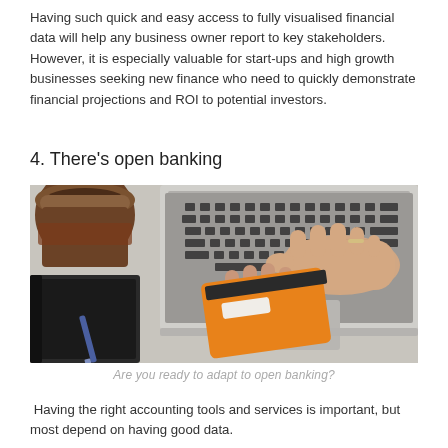Having such quick and easy access to fully visualised financial data will help any business owner report to key stakeholders. However, it is especially valuable for start-ups and high growth businesses seeking new finance who need to quickly demonstrate financial projections and ROI to potential investors.
4. There's open banking
[Figure (photo): Person holding an orange credit/debit card in one hand while typing on a laptop keyboard with the other hand. A coffee cup and a notebook with a pen are visible on the desk.]
Are you ready to adapt to open banking?
Having the right accounting tools and services is important, but most depend on having good data.